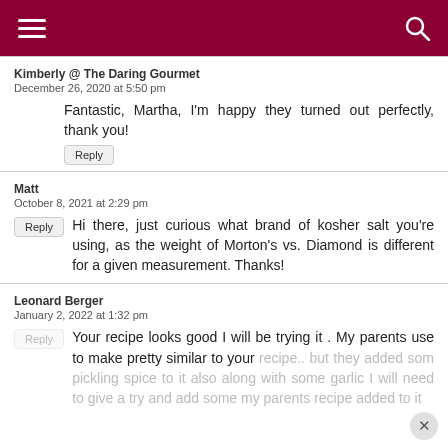Menu | Search
Kimberly @ The Daring Gourmet
December 26, 2020 at 5:50 pm
Fantastic, Martha, I'm happy they turned out perfectly, thank you!
Matt
October 8, 2021 at 2:29 pm
Hi there, just curious what brand of kosher salt you're using, as the weight of Morton's vs. Diamond is different for a given measurement. Thanks!
Leonard Berger
January 2, 2022 at 1:32 pm
Your recipe looks good I will be trying it . My parents use to make pretty similar to your recipe.. but they added som pickling spice to it also along with some garlic I will need to give a try and add some my parents recipe added to it